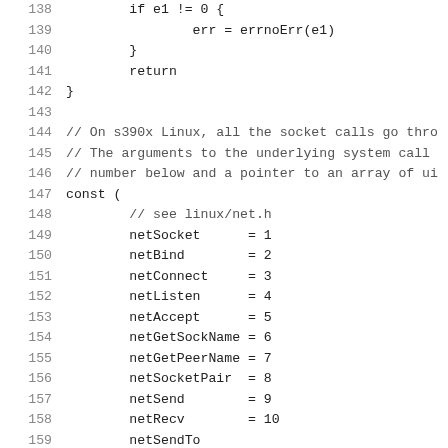138    if e1 != 0 {
139        err = errnoErr(e1)
140    }
141    return
142 }
143
144 // On s390x Linux, all the socket calls go thro
145 // The arguments to the underlying system call
146 // number below and a pointer to an array of ui
147 const (
148     // see linux/net.h
149     netSocket      = 1
150     netBind        = 2
151     netConnect     = 3
152     netListen      = 4
153     netAccept      = 5
154     netGetSockName = 6
155     netGetPeerName = 7
156     netSocketPair  = 8
157     netSend        = 9
158     netRecv        = 10
159     netSendTo      = 11